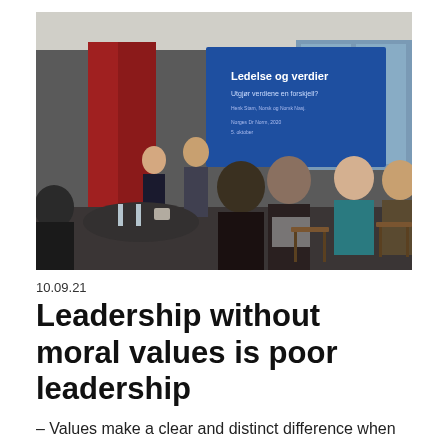[Figure (photo): Photo of a conference or seminar event. Audience members seated, facing two presenters at the front of a room. A large blue presentation slide is visible on screen showing text 'Ledelse og verdier'. The room has red curtains, large windows, and round tables with drinks.]
10.09.21
Leadership without moral values is poor leadership
– Values make a clear and distinct difference when